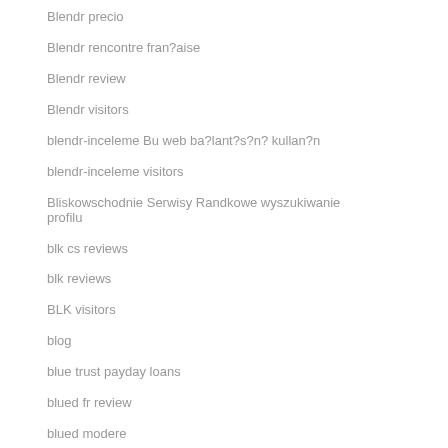Blendr precio
Blendr rencontre fran?aise
Blendr review
Blendr visitors
blendr-inceleme Bu web ba?lant?s?n? kullan?n
blendr-inceleme visitors
Bliskowschodnie Serwisy Randkowe wyszukiwanie profilu
blk cs reviews
blk reviews
BLK visitors
blog
blue trust payday loans
blued fr review
blued modere